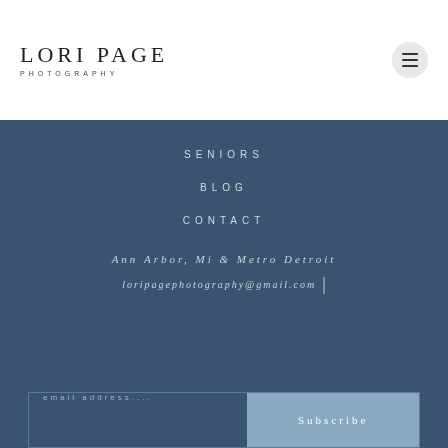[Figure (logo): Lori Page Photography logo — large serif text LORI PAGE with PHOTOGRAPHY in small spaced caps below]
[Figure (illustration): Hamburger menu icon inside a light grey circle]
SENIORS
BLOG
CONTACT
Ann Arbor, Mi & Metro Detroit
loripagephotography@gmail.com
email address....
Subscribe